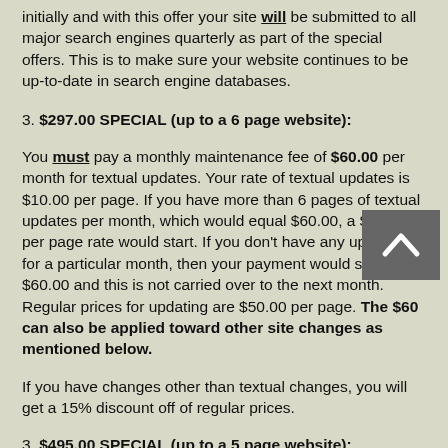initially and with this offer your site will be submitted to all major search engines quarterly as part of the special offers. This is to make sure your website continues to be up-to-date in search engine databases.
3.  $297.00 SPECIAL (up to a 6 page website):
You must pay a monthly maintenance fee of $60.00 per month for textual updates. Your rate of textual updates is $10.00 per page. If you have more than 6 pages of textual updates per month, which would equal $60.00, a $10.00 per page rate would start. If you don't have any updates for a particular month, then your payment would still be $60.00 and this is not carried over to the next month. Regular prices for updating are $50.00 per page. The $60 can also be applied toward other site changes as mentioned below.
If you have changes other than textual changes, you will get a 15% discount off of regular prices.
3.  $495.00 SPECIAL (up to a 5 page website):